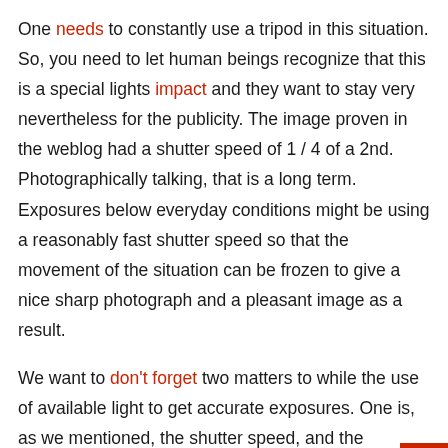One needs to constantly use a tripod in this situation. So, you need to let human beings recognize that this is a special lights impact and they want to stay very nevertheless for the publicity. The image proven in the weblog had a shutter speed of 1 / 4 of a 2nd. Photographically talking, that is a long term. Exposures below everyday conditions might be using a reasonably fast shutter speed so that the movement of the situation can be frozen to give a nice sharp photograph and a pleasant image as a result.
We want to don't forget two matters to while the use of available light to get accurate exposures. One is, as we mentioned, the shutter speed, and the alternative of the route is the aperture.